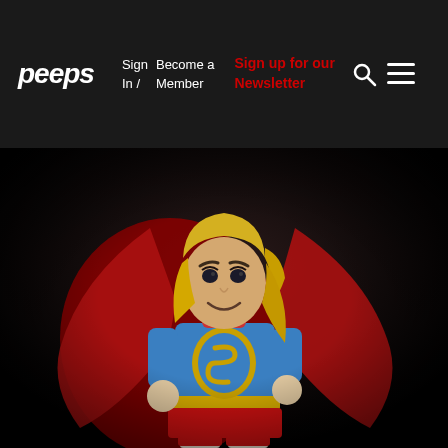peeps — Sign In / Become a Member — Sign up for our Newsletter
[Figure (photo): A LEGO Supergirl minifigure with blonde hair, blue costume with yellow S logo, red cape, photographed against a dark background.]